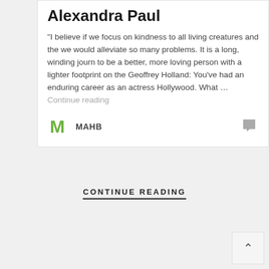Alexandra Paul
“I believe if we focus on kindness to all living creatures and the we would alleviate so many problems. It is a long, winding journ to be a better, more loving person with a lighter footprint on the Geoffrey Holland: You’ve had an enduring career as an actress Hollywood. What … Continue reading
MAHB
CONTINUE READING